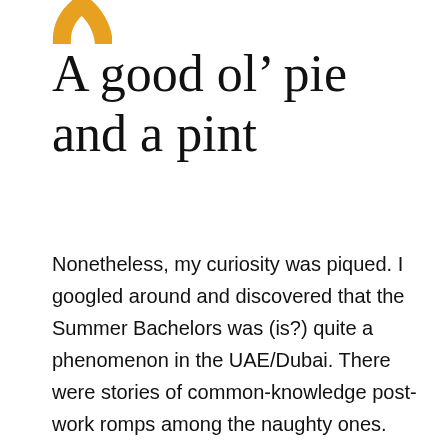[Figure (logo): Partial orange/yellow circular logo or icon visible at top]
A good ol’ pie and a pint
Nonetheless, my curiosity was piqued. I googled around and discovered that the Summer Bachelors was (is?) quite a phenomenon in the UAE/Dubai. There were stories of common-knowledge post-work romps among the naughty ones. And some of the more sedate husbands who choose to spend their evenings enjoying Summer Bachelors restaurant specials that include a good ol’ pie and a pint.